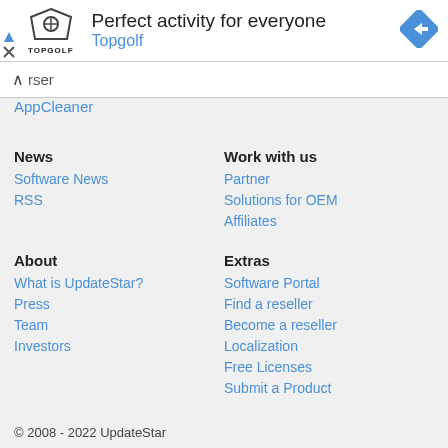[Figure (screenshot): Advertisement banner for Topgolf: logo on left, 'Perfect activity for everyone' title, 'Topgolf' subtitle in blue, navigation icon on right, play/close controls on left.]
rser
AppCleaner
News
Software News
RSS
Work with us
Partner
Solutions for OEM
Affiliates
About
What is UpdateStar?
Press
Team
Investors
Extras
Software Portal
Find a reseller
Become a reseller
Localization
Free Licenses
Submit a Product
© 2008 - 2022 UpdateStar